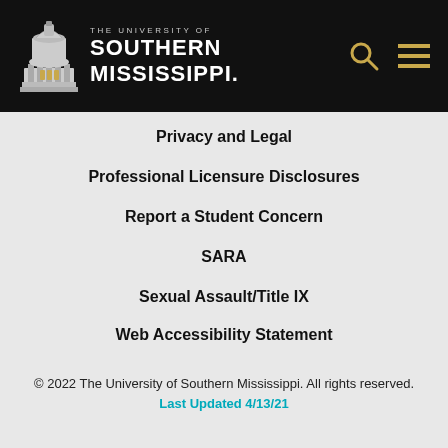[Figure (logo): University of Southern Mississippi logo with capitol dome and text]
Privacy and Legal
Professional Licensure Disclosures
Report a Student Concern
SARA
Sexual Assault/Title IX
Web Accessibility Statement
© 2022 The University of Southern Mississippi. All rights reserved. Last Updated 4/13/21